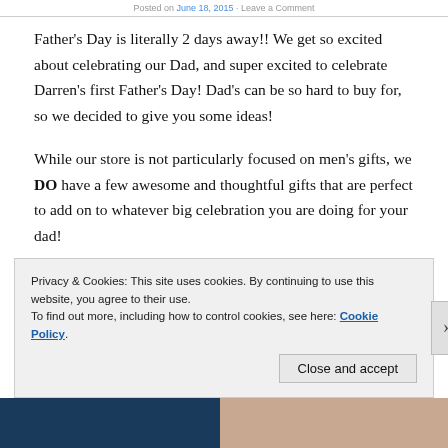Posted on June 18, 2015 · Leave a Comment
Father's Day is literally 2 days away!! We get so excited about celebrating our Dad, and super excited to celebrate Darren's first Father's Day! Dad's can be so hard to buy for, so we decided to give you some ideas!
While our store is not particularly focused on men's gifts, we DO have a few awesome and thoughtful gifts that are perfect to add on to whatever big celebration you are doing for your dad!
Privacy & Cookies: This site uses cookies. By continuing to use this website, you agree to their use.
To find out more, including how to control cookies, see here: Cookie Policy